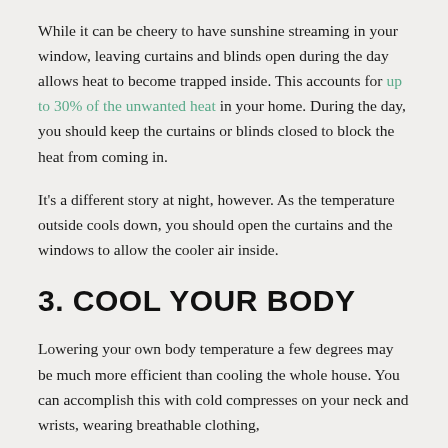While it can be cheery to have sunshine streaming in your window, leaving curtains and blinds open during the day allows heat to become trapped inside. This accounts for up to 30% of the unwanted heat in your home. During the day, you should keep the curtains or blinds closed to block the heat from coming in.
It's a different story at night, however. As the temperature outside cools down, you should open the curtains and the windows to allow the cooler air inside.
3. COOL YOUR BODY
Lowering your own body temperature a few degrees may be much more efficient than cooling the whole house. You can accomplish this with cold compresses on your neck and wrists, wearing breathable clothing,